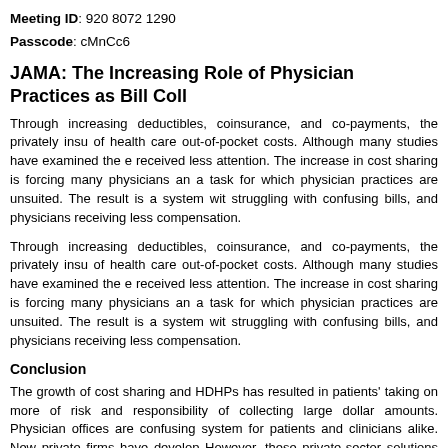Meeting ID: 920 8072 1290
Passcode: cMnCc6
JAMA: The Increasing Role of Physician Practices as Bill Coll...
Through increasing deductibles, coinsurance, and co-payments, the privately insu... of health care out-of-pocket costs. Although many studies have examined the e... received less attention. The increase in cost sharing is forcing many physicians an... a task for which physician practices are unsuited. The result is a system wit... struggling with confusing bills, and physicians receiving less compensation.
Through increasing deductibles, coinsurance, and co-payments, the privately insu... of health care out-of-pocket costs. Although many studies have examined the e... received less attention. The increase in cost sharing is forcing many physicians an... a task for which physician practices are unsuited. The result is a system wit... struggling with confusing bills, and physicians receiving less compensation.
Conclusion
The growth of cost sharing and HDHPs has resulted in patients' taking on more of... risk and responsibility of collecting large dollar amounts. Physician offices are... confusing system for patients and clinicians alike. New private firms have develop... However, these private-sector solutions may help ameliorate the problem but will... are envisioned will meaningfully address the burden of high out-of-pocket spending...
Read the full article here.
AMA Drafts CY 2022 Physician Fee Schedule Proposed Rule S...
The American Medical Association (AMA) has drafted a summary of the CY 2022... by the Centers for Medicare and Medicaid Services (CMS) on July 13, 2021. Th...